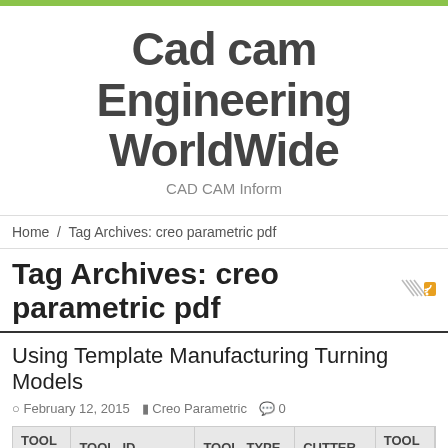Cad cam Engineering WorldWide
CAD CAM Inform
Home / Tag Archives: creo parametric pdf
Tag Archives: creo parametric pdf
Using Template Manufacturing Turning Models
February 12, 2015   Creo Parametric   0
| TOOL P... | TOOL_ID | TOOL_TYPE | CUTTER... | TOOL O... |
| --- | --- | --- | --- | --- |
| 1 | LH_120X15_150R | TURNING |  |  |
| 2 | CNTR_DRL01 | CENTER-DRILL | 13.000000 |  |
| 3 | GRV_15X6_0R | TURN-GROOV... |  |  |
| 4 | LH_125X15_0R | TURNING |  |  |
| 5 | DCL_125X140... | RAPID-DR... | 13.0... |  |